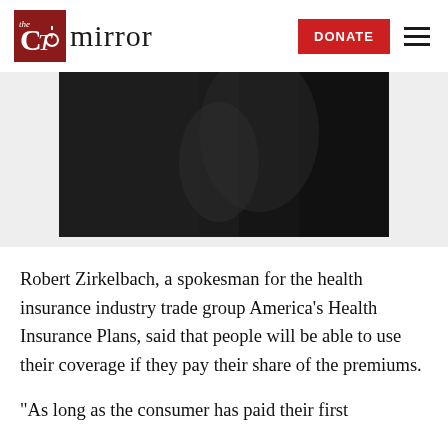the CT mirror
[Figure (photo): Dark photograph, likely showing hands or abstract dark subject matter]
Robert Zirkelbach, a spokesman for the health insurance industry trade group America’s Health Insurance Plans, said that people will be able to use their coverage if they pay their share of the premiums.
“As long as the consumer has paid their first